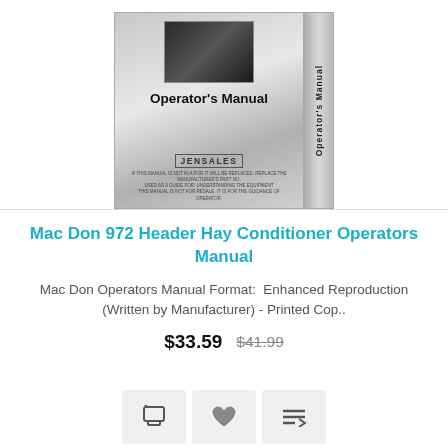[Figure (photo): Book cover and spine of Mac Don 972 Header Hay Conditioner Operators Manual, published by Jensales. Cover shows a metallic/silver design with 'Operator's Manual' text in bold and a small equipment photo at the top. The spine reads 'Operator's Manual' vertically.]
Mac Don 972 Header Hay Conditioner Operators Manual
Mac Don Operators Manual Format:  Enhanced Reproduction (Written by Manufacturer) - Printed Cop..
$33.59  $41.99